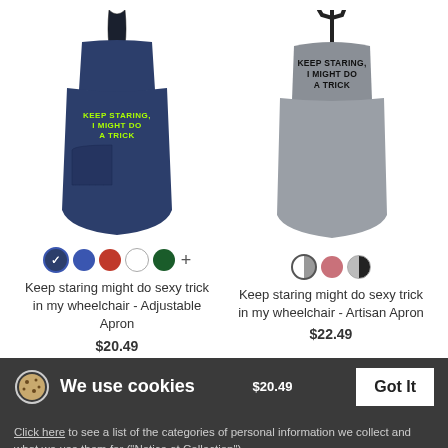[Figure (photo): Navy blue adjustable apron with yellow-green text reading KEEP STARING I MIGHT DO A TRICK]
[Figure (photo): Gray artisan apron with black text reading KEEP STARING I MIGHT DO A TRICK]
Keep staring might do sexy trick in my wheelchair - Adjustable Apron
$20.49
Keep staring might do sexy trick in my wheelchair - Artisan Apron
$22.49
We use cookies
Got It
Click here to see a list of the categories of personal information we collect and what we use them for ("Notice at Collection").
Privacy Policy
Do Not Sell My Personal Information
Page 1 of 2
By using this website, I agree to the Terms and Conditions